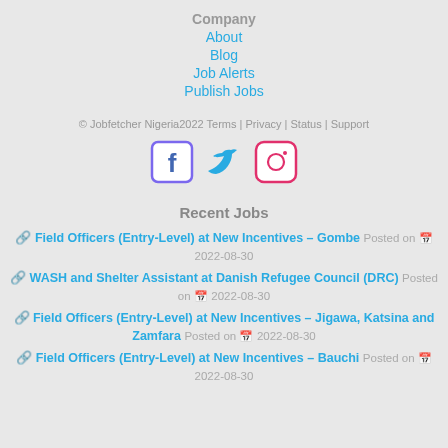Company
About
Blog
Job Alerts
Publish Jobs
© Jobfetcher Nigeria2022 Terms | Privacy | Status | Support
[Figure (logo): Social media icons for Facebook, Twitter, and Instagram]
Recent Jobs
🔗 Field Officers (Entry-Level) at New Incentives – Gombe Posted on 📅 2022-08-30
🔗 WASH and Shelter Assistant at Danish Refugee Council (DRC) Posted on 📅 2022-08-30
🔗 Field Officers (Entry-Level) at New Incentives – Jigawa, Katsina and Zamfara Posted on 📅 2022-08-30
🔗 Field Officers (Entry-Level) at New Incentives – Bauchi Posted on 📅 2022-08-30